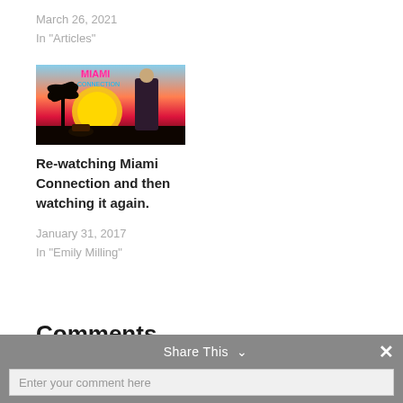March 26, 2021
In "Articles"
[Figure (illustration): Movie poster artwork for Miami Connection showing a woman in action pose against a sunset with palm trees and neon text]
Re-watching Miami Connection and then watching it again.
January 31, 2017
In "Emily Milling"
Comments
Share This ∨
Enter your comment here